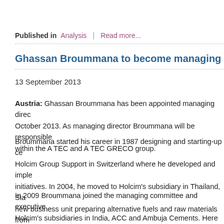Published in  Analysis  |  Read more...
Ghassan Broummana to become managing director a
13 September 2013
Austria: Ghassan Broummana has been appointed managing direc... October 2013. As managing director Broummana will be responsible within the A TEC and A TEC GRECO group.
Broummana started his career in 1987 designing and starting-up ce... Holcim Group Support in Switzerland where he developed and imple... initiatives. In 2004, he moved to Holcim's subsidiary in Thailand, Sia... new business unit preparing alternative fuels and raw materials from waste.
In 2009 Broummana joined the managing committee and executive ... Holcim's subsidiaries in India, ACC and Ambuja Cements. Here he n... unified technical support service centre that provides expertise to bo... with the aim of improving the efficiency and effectiveness of over 25 ... grinding stations and managing all the major capital expenditure pro...
Broummana holds a Diploma in Electrical Engineering and a Diplo...